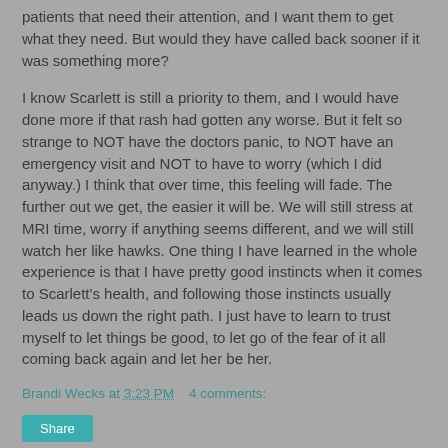patients that need their attention, and I want them to get what they need.  But would they have called back sooner if it was something more?
I know Scarlett is still a priority to them, and I would have done more if that rash had gotten any worse.  But it felt so strange to NOT have the doctors panic, to NOT have an emergency visit and NOT to have to worry (which I did anyway.)  I think that over time, this feeling will fade.  The further out we get, the easier it will be.  We will still stress at MRI time, worry if anything seems different, and we will still watch her like hawks.  One thing I have learned in the whole experience is that I have pretty good instincts when it comes to Scarlett's health, and following those instincts usually leads us down the right path.  I just have to learn to trust myself to let things be good, to let go of the fear of it all coming back again and let her be her.
Brandi Wecks at 3:23 PM    4 comments:
Share